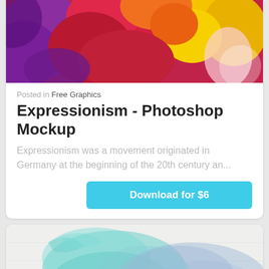[Figure (photo): Colorful expressionist flowers with vivid reds, purples, yellows — painterly style]
Posted in Free Graphics
Expressionism - Photoshop Mockup
Expressionism was a movement originated in Germany at the beginning of the 20th century an...
Download for $6
[Figure (illustration): Watercolor paper mockup with teal/blue watercolor brush strokes and white script text reading 'Watercolor PAPER MOCKUP']